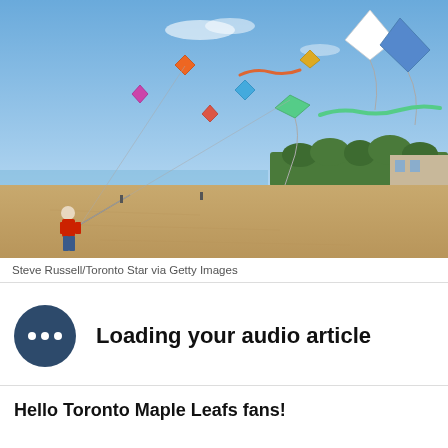[Figure (photo): Beach scene with many colorful kites flying in a blue sky. A person in a red jacket stands on the sandy beach flying kites. Trees and buildings visible in the background along the shoreline.]
Steve Russell/Toronto Star via Getty Images
[Figure (infographic): Loading audio article UI element with dark blue circle containing three dots (ellipsis) icon on the left and bold text 'Loading your audio article' on the right.]
Hello Toronto Maple Leafs fans!